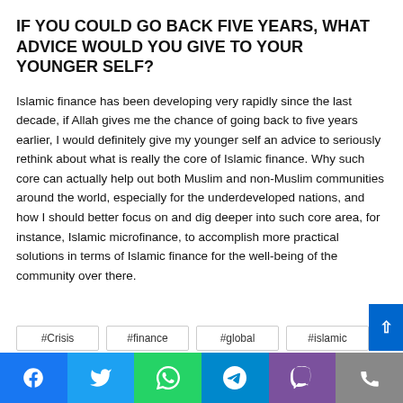IF YOU COULD GO BACK FIVE YEARS, WHAT ADVICE WOULD YOU GIVE TO YOUR YOUNGER SELF?
Islamic finance has been developing very rapidly since the last decade, if Allah gives me the chance of going back to five years earlier, I would definitely give my younger self an advice to seriously rethink about what is really the core of Islamic finance. Why such core can actually help out both Muslim and non‑Muslim communities around the world, especially for the underdeveloped nations, and how I should better focus on and dig deeper into such core area, for instance, Islamic microfinance, to accomplish more practical solutions in terms of Islamic finance for the well-being of the community over there.
#Crisis
#finance
#global
#islamic